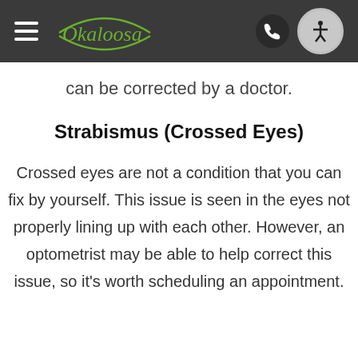[Figure (screenshot): Website header with dark background, hamburger menu icon, green cursive Okaloosa logo, phone icon button, and accessibility icon button]
can be corrected by a doctor.
Strabismus (Crossed Eyes)
Crossed eyes are not a condition that you can fix by yourself. This issue is seen in the eyes not properly lining up with each other. However, an optometrist may be able to help correct this issue, so it's worth scheduling an appointment.